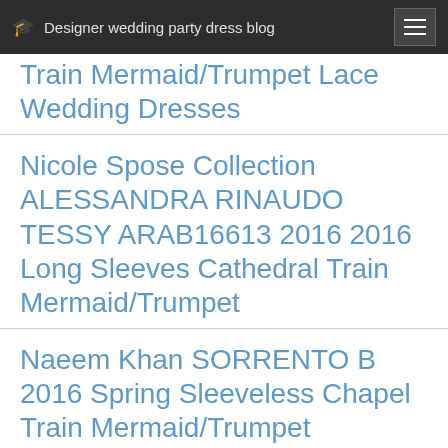Designer wedding party dress blog
Train Mermaid/Trumpet Lace Wedding Dresses
Nicole Spose Collection ALESSANDRA RINAUDO TESSY ARAB16613 2016 2016 Long Sleeves Cathedral Train Mermaid/Trumpet
Naeem Khan SORRENTO B 2016 Spring Sleeveless Chapel Train Mermaid/Trumpet